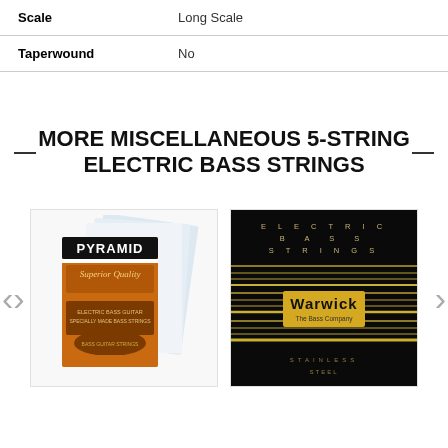| Attribute | Value |
| --- | --- |
| Scale | Long Scale |
| Taperwound | No |
MORE MISCELLANEOUS 5-STRING ELECTRIC BASS STRINGS
[Figure (photo): Pyramid Superior Quality electric bass guitar strings product package, orange packaging with multiple string pages behind it]
[Figure (photo): Warwick Electric Bass Strings package, black packaging with gold horizontal lines and the Warwick logo/The Bass Company branding, text reads ELECTRIC BASS STRINGS at top and STAINLESS at bottom]